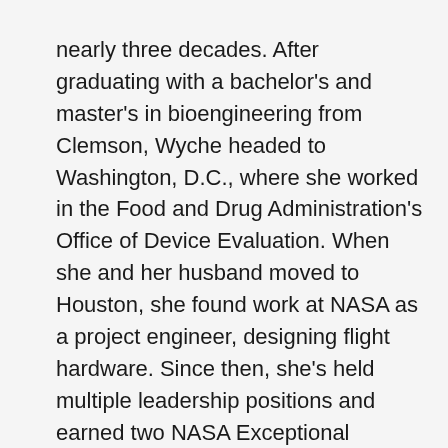nearly three decades. After graduating with a bachelor's and master's in bioengineering from Clemson, Wyche headed to Washington, D.C., where she worked in the Food and Drug Administration's Office of Device Evaluation. When she and her husband moved to Houston, she found work at NASA as a project engineer, designing flight hardware. Since then, she's held multiple leadership positions and earned two NASA Exceptional Achievement Medals and two NASA Outstanding Leadership Medals.
When she's not at Johnson Space Center, Wyche is championing STEM in her community. For the past six years, NASA has partnered with The Links, Incorporated to bring a science fair to a local elementary school. NASA employees visit the school and mentor the children on their projects, while the nonprofit provides the supplies and resources to put on the fair.